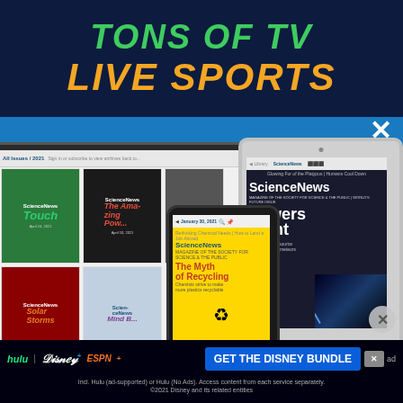[Figure (advertisement): Top banner ad with dark navy background showing 'TONS OF TV' in green italic bold text and 'LIVE SPORTS' in orange/gold italic bold text]
[Figure (advertisement): Science News digital subscription advertisement on blue background showing a laptop, tablet, and smartphone displaying Science News magazine covers including 'Touch', 'The Myth of Recycling', 'Solar Storms', and 'nowers Light' (Showers of Light). White X close button in top right.]
[Figure (advertisement): Disney Bundle advertisement bar at bottom with Hulu, Disney+, and ESPN+ logos and 'GET THE DISNEY BUNDLE' button. Fine print: 'Incl. Hulu (ad-supported) or Hulu (No Ads). Access content from each service separately. ©2021 Disney and its related entities']